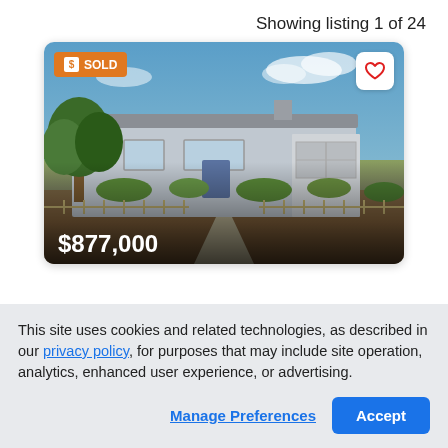Showing listing 1 of 24
[Figure (photo): Photo of a single-story ranch house with a garage, front yard landscaping with shrubs, a walkway, and trees. A 'SOLD' badge appears in the top left and a price label '$877,000' in the bottom left. A heart/favorite button is in the top right corner.]
This site uses cookies and related technologies, as described in our privacy policy, for purposes that may include site operation, analytics, enhanced user experience, or advertising.
Manage Preferences
Accept